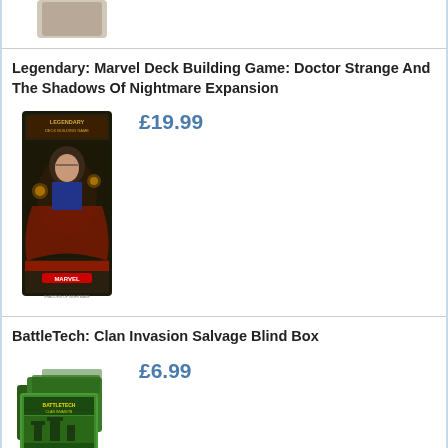[Figure (photo): Partial product image at top of page (cut off)]
Legendary: Marvel Deck Building Game: Doctor Strange And The Shadows Of Nightmare Expansion
[Figure (photo): Product image for Legendary: Marvel Deck Building Game: Doctor Strange And The Shadows Of Nightmare Expansion box]
£19.99
BattleTech: Clan Invasion Salvage Blind Box
[Figure (photo): Product image for BattleTech: Clan Invasion Salvage Blind Box]
£6.99
Marvel Champions LCG: Phoenix Hero Pack
[Figure (photo): Partial product image for Marvel Champions LCG: Phoenix Hero Pack (cut off at bottom)]
£13.99